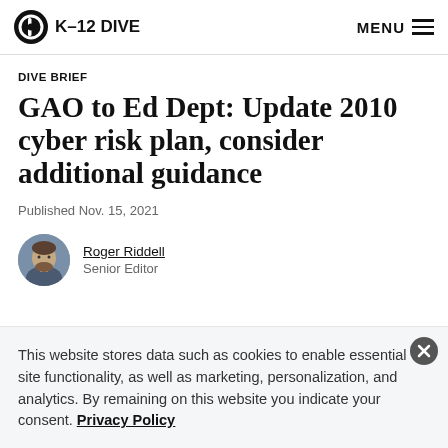K-12 DIVE   MENU
DIVE BRIEF
GAO to Ed Dept: Update 2010 cyber risk plan, consider additional guidance
Published Nov. 15, 2021
Roger Riddell
Senior Editor
This website stores data such as cookies to enable essential site functionality, as well as marketing, personalization, and analytics. By remaining on this website you indicate your consent. Privacy Policy